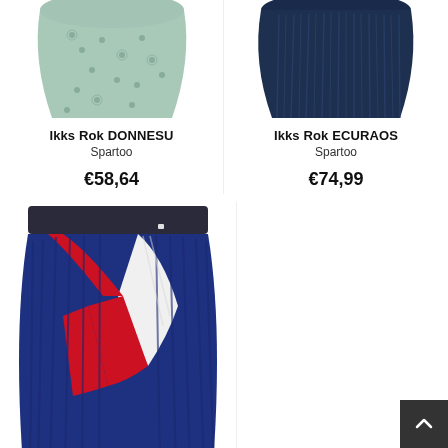[Figure (photo): Partial view of Ikks Rok DONNESU skirt - green floral pattern, top portion cut off]
[Figure (photo): Partial view of Ikks Rok ECURAOS skirt - navy blue pleated skirt, top portion cut off]
Ikks Rok DONNESU
Spartoo
€58,64
Ikks Rok ECURAOS
Spartoo
€74,99
[Figure (photo): Ikks Rok XR27052 - navy blue pleated skirt with red and white diagonal lightning bolt pattern, dark waistband]
Ikks Rok XR27052
Spartoo